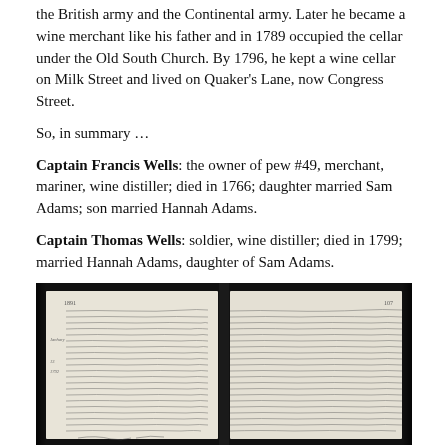the British army and the Continental army. Later he became a wine merchant like his father and in 1789 occupied the cellar under the Old South Church. By 1796, he kept a wine cellar on Milk Street and lived on Quaker's Lane, now Congress Street.
So, in summary …
Captain Francis Wells: the owner of pew #49, merchant, mariner, wine distiller; died in 1766; daughter married Sam Adams; son married Hannah Adams.
Captain Thomas Wells: soldier, wine distiller; died in 1799; married Hannah Adams, daughter of Sam Adams.
[Figure (photo): Black and white photograph of an open book showing handwritten text on both pages, with entry dated around 1799.]